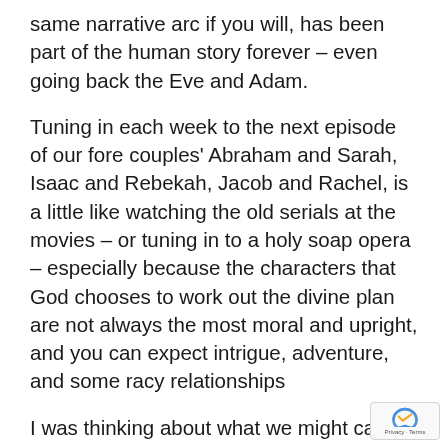same narrative arc if you will, has been part of the human story forever – even going back the Eve and Adam.
Tuning in each week to the next episode of our fore couples' Abraham and Sarah, Isaac and Rebekah, Jacob and Rachel, is a little like watching the old serials at the movies – or tuning in to a holy soap opera – especially because the characters that God chooses to work out the divine plan are not always the most moral and upright, and you can expect intrigue, adventure, and some racy relationships
I was thinking about what we might call this holy soap-opera. How about Wheat and